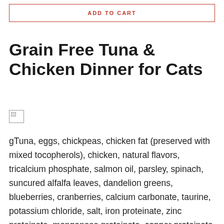ADD TO CART
Grain Free Tuna & Chicken Dinner for Cats
[Figure (other): Broken image placeholder icon]
gTuna, eggs, chickpeas, chicken fat (preserved with mixed tocopherols), chicken, natural flavors, tricalcium phosphate, salmon oil, parsley, spinach, suncured alfalfa leaves, dandelion greens, blueberries, cranberries, calcium carbonate, taurine, potassium chloride, salt, iron proteinate, zinc proteinate, manganese proteinate, copper proteinate, magnesium proteinate, sodium